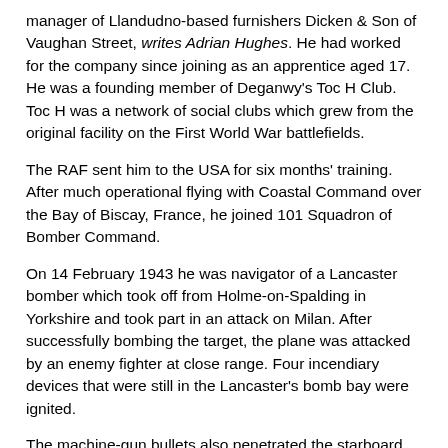manager of Llandudno-based furnishers Dicken & Son of Vaughan Street, writes Adrian Hughes. He had worked for the company since joining as an apprentice aged 17. He was a founding member of Deganwy's Toc H Club. Toc H was a network of social clubs which grew from the original facility on the First World War battlefields.
The RAF sent him to the USA for six months' training. After much operational flying with Coastal Command over the Bay of Biscay, France, he joined 101 Squadron of Bomber Command.
On 14 February 1943 he was navigator of a Lancaster bomber which took off from Holme-on-Spalding in Yorkshire and took part in an attack on Milan. After successfully bombing the target, the plane was attacked by an enemy fighter at close range. Four incendiary devices that were still in the Lancaster's bomb bay were ignited.
The machine-gun bullets also penetrated the starboard engine's petrol tank and damaged the bomber's intercom. Seconds later, the port engine caught fire and the pilot put the aircraft into a steep dive to extinguish the flames, levelling out at 240 metres above the Italian countryside. Meanwhile Sgt Williams, with the help of the others, extinguished the fuselage fire.
The pilot managed to haul the crippled bomber up to 4,700 metres to cross